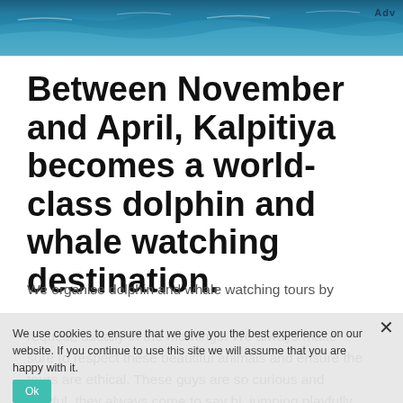[Figure (photo): Ocean/sea water surface header image with waves, blue-teal gradient. Logo text 'Adv' visible in top right corner.]
Between November and April, Kalpitiya becomes a world-class dolphin and whale watching destination.
We organise dolphin and whale watching tours by request, usually in the mornings. We always make sure to respect these beautiful animals and ensure the tours are ethical. These guys are so curious and playful, they always come to say hi, jumping playfully for everyone's amusement.
We use cookies to ensure that we give you the best experience on our website. If you continue to use this site we will assume that you are happy with it.